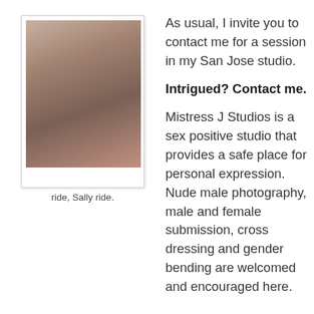[Figure (photo): Close-up photo of a hand holding a red object, shown in a polaroid-style frame]
ride, Sally ride.
As usual, I invite you to contact me for a session in my San Jose studio.
Intrigued? Contact me.
Mistress J Studios is a sex positive studio that provides a safe place for personal expression. Nude male photography, male and female submission, cross dressing and gender bending are welcomed and encouraged here.